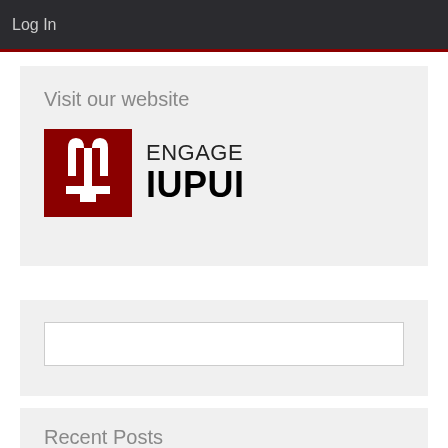Log In
Visit our website
[Figure (logo): IUPUI Engage logo: red square with white IU torch symbol on the left, and text 'ENGAGE IUPUI' on the right]
Recent Posts